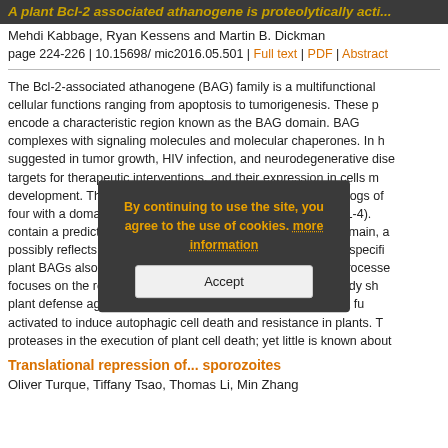A plant Bcl-2 associated athanogene is proteolytically acti...
Mehdi Kabbage, Ryan Kessens and Martin B. Dickman
page 224-226 | 10.15698/ mic2016.05.501 | Full text | PDF | Abstract
The Bcl-2-associated athanogene (BAG) family is a multifunctional cellular functions ranging from apoptosis to tumorigenesis. These p encode a characteristic region known as the BAG domain. BAG complexes with signaling molecules and molecular chaperones. In h suggested in tumor growth, HIV infection, and neurodegenerative dise targets for therapeutic interventions, and their expression in cells m development. The Arabidopsis genome contains seven homologs of four with a domain organization similar to animal BAGs (BAG1-4). contain a predicted calmodulin-binding motif near the BAG domain, a possibly reflects divergent mechanisms associated with plant-specifi plant BAGs also regulate several stress and developmental processe focuses on the role of BAG6 in plant innate immunity. This study sh plant defense against fungal pathogens. Importantly, this work fu activated to induce autophagic cell death and resistance in plants. T proteases in the execution of plant cell death; yet little is known about
Translational repression of ... sporozoites
Oliver Turque, Tiffany Tsao, Thomas Li, Min Zhang